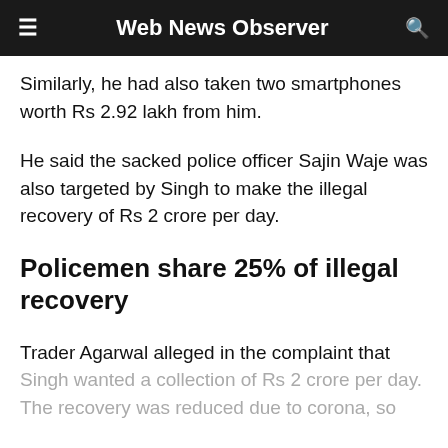Web News Observer
Similarly, he had also taken two smartphones worth Rs 2.92 lakh from him.
He said the sacked police officer Sajin Waje was also targeted by Singh to make the illegal recovery of Rs 2 crore per day.
Policemen share 25% of illegal recovery
Trader Agarwal alleged in the complaint that Singh wanted a collection of Rs 2 crore per day. The recovery was reduced due to corona, so